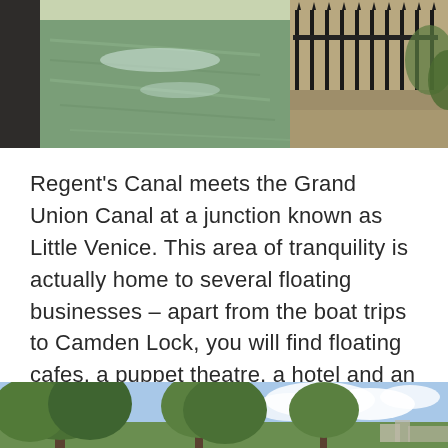[Figure (photo): Aerial view of a canal with green water, iron railing fence on right side and trees along the bank, sunny day]
Regent's Canal meets the Grand Union Canal at a junction known as Little Venice.  This area of tranquility is actually home to several floating businesses – apart from the boat trips to Camden Lock,  you will find floating cafes,  a puppet theatre,  a hotel and an art gallery among others.
[Figure (photo): Landscape view of Little Venice area with large green trees and blue sky with white clouds, canal visible in background]